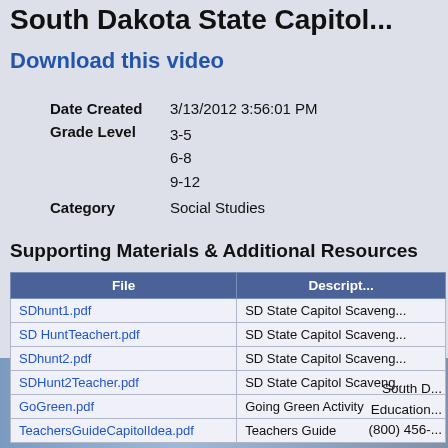South Dakota State Capitol...
Download this video
Date Created  3/13/2012 3:56:01 PM
Grade Level  3-5
6-8
9-12
Category  Social Studies
Supporting Materials & Additional Resources
| File | Descript... |
| --- | --- |
| SDhunt1.pdf | SD State Capitol Scaveng... |
| SD HuntTeachert.pdf | SD State Capitol Scaveng... |
| SDhunt2.pdf | SD State Capitol Scaveng... |
| SDHunt2Teacher.pdf | SD State Capitol Scaveng... |
| GoGreen.pdf | Going Green Activity |
| TeachersGuideCapitolIdea.pdf | Teachers Guide |
South D...
Education...
(800) 456-...